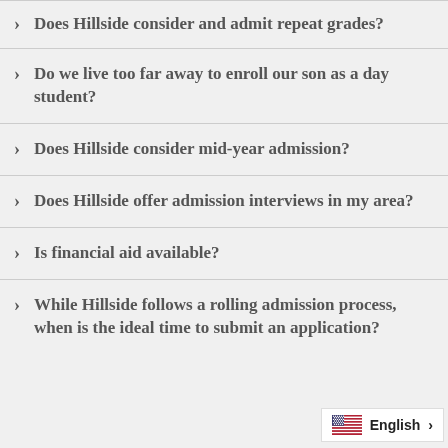> Does Hillside consider and admit repeat grades?
> Do we live too far away to enroll our son as a day student?
> Does Hillside consider mid-year admission?
> Does Hillside offer admission interviews in my area?
> Is financial aid available?
> While Hillside follows a rolling admission process, when is the ideal time to submit an application?
English